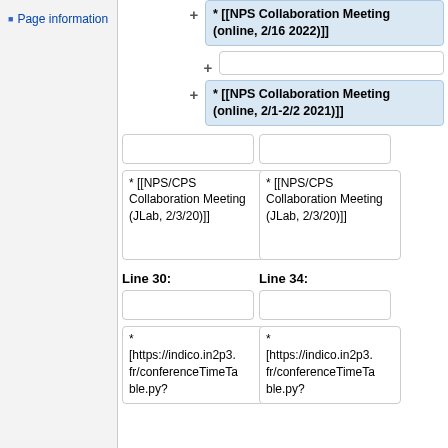Page information
* [[NPS Collaboration Meeting (online, 2/16 2022)]]
(empty cell)
* [[NPS Collaboration Meeting (online, 2/1-2/2 2021)]]
* [[NPS/CPS Collaboration Meeting (JLab, 2/3/20)]]
* [[NPS/CPS Collaboration Meeting (JLab, 2/3/20)]]
Line 30:
Line 34:
* [https://indico.in2p3.fr/conferenceTimeTable.py?
* [https://indico.in2p3.fr/conferenceTimeTable.py?